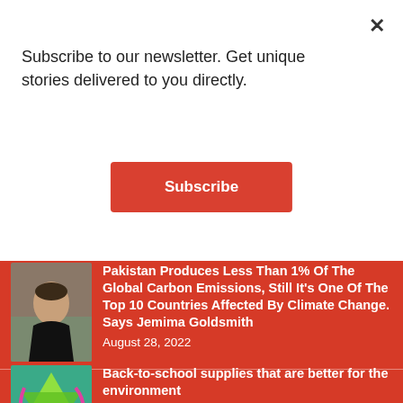Subscribe to our newsletter. Get unique stories delivered to you directly.
Subscribe
Pakistan Produces Less Than 1% Of The Global Carbon Emissions, Still It's One Of The Top 10 Countries Affected By Climate Change. Says Jemima Goldsmith
August 28, 2022
Back-to-school supplies that are better for the environment
August 28, 2022
How K-pop apps like WeVerse, Universe, Lysn, and Bubble work